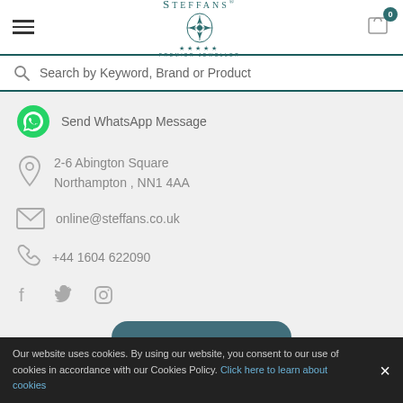[Figure (logo): Steffans Premier Jeweller logo with crest and stars]
Search by Keyword, Brand or Product
Send WhatsApp Message
2-6 Abington Square
Northampton , NN1 4AA
online@steffans.co.uk
+44 1604 622090
[Figure (infographic): Social media icons: Facebook, Twitter, Instagram]
Our website uses cookies. By using our website, you consent to our use of cookies in accordance with our Cookies Policy. Click here to learn about cookies